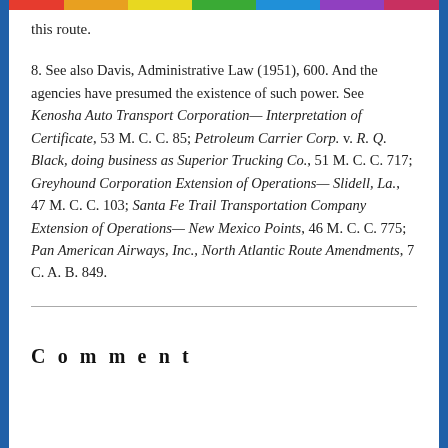this route.
8. See also Davis, Administrative Law (1951), 600. And the agencies have presumed the existence of such power. See Kenosha Auto Transport Corporation— Interpretation of Certificate, 53 M. C. C. 85; Petroleum Carrier Corp. v. R. Q. Black, doing business as Superior Trucking Co., 51 M. C. C. 717; Greyhound Corporation Extension of Operations— Slidell, La., 47 M. C. C. 103; Santa Fe Trail Transportation Company Extension of Operations— New Mexico Points, 46 M. C. C. 775; Pan American Airways, Inc., North Atlantic Route Amendments, 7 C. A. B. 849.
Comment